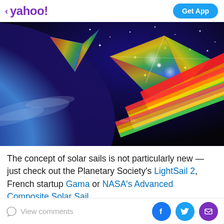yahoo! Get App
[Figure (illustration): Artistic illustration of colorful solar sails in space, with a planet Earth visible in the background and stars scattered throughout. The sails are depicted as kite-like structures with rainbow-colored stripes against a dark space backdrop.]
The concept of solar sails is not particularly new — just check out the Planetary Society's LightSail 2, French startup Gama or NASA's Advanced Composite Solar Sail
View comments